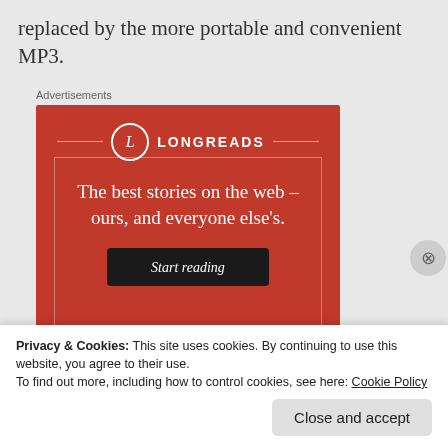replaced by the more portable and convenient MP3.
[Figure (infographic): Longreads advertisement: red background with Longreads logo (L in circle), tagline 'The best stories on the web – ours, and everyone else's.' and a black 'Start reading' button.]
Privacy & Cookies: This site uses cookies. By continuing to use this website, you agree to their use. To find out more, including how to control cookies, see here: Cookie Policy
Close and accept